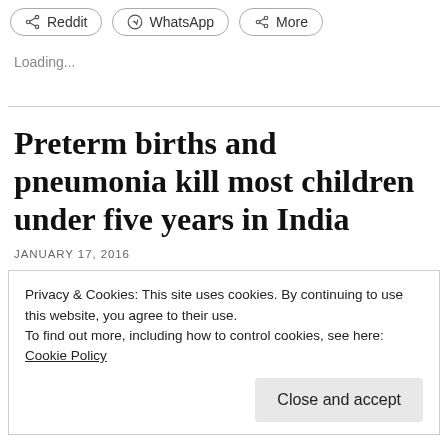[Figure (other): Social share buttons: Reddit, WhatsApp, More]
Loading...
Preterm births and pneumonia kill most children under five years in India
JANUARY 17, 2016
Privacy & Cookies: This site uses cookies. By continuing to use this website, you agree to their use.
To find out more, including how to control cookies, see here: Cookie Policy
Close and accept
complications, pneumonia and intrapartum-